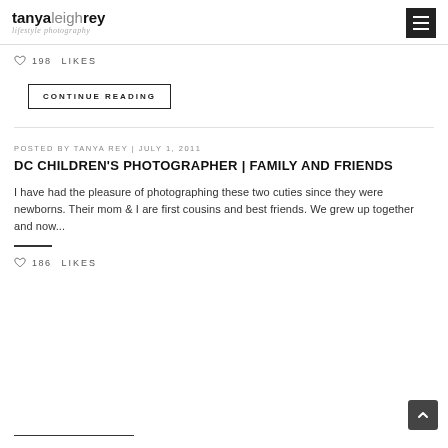tanyaleighrey lifestyle photography
198 LIKES
CONTINUE READING
POSTED BY TANYA REY | JULY 1, 2011
DC CHILDREN'S PHOTOGRAPHER | FAMILY AND FRIENDS
I have had the pleasure of photographing these two cuties since they were newborns. Their mom & I are first cousins and best friends. We grew up together and now...
186 LIKES